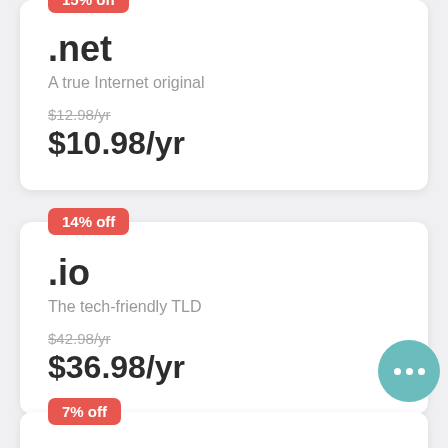15% off
.net
A true Internet original
$12.98/yr
$10.98/yr
14% off
.io
The tech-friendly TLD
$42.98/yr
$36.98/yr
7% off